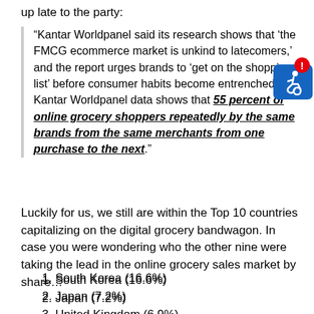up late to the party:
“Kantar Worldpanel said its research shows that ‘the FMCG ecommerce market is unkind to latecomers,’ and the report urges brands to ‘get on the shopping list’ before consumer habits become entrenched. Kantar Worldpanel data shows that 55 percent of online grocery shoppers repeatedly by the same brands from the same merchants from one purchase to the next.”
Luckily for us, we still are within the Top 10 countries capitalizing on the digital grocery bandwagon. In case you were wondering who the other nine were taking the lead in the online grocery sales market by share…
1. South Korea (16.6%)
2. Japan (7.2%)
3. United Kingdom (6.9%)
4. France (5.3%)